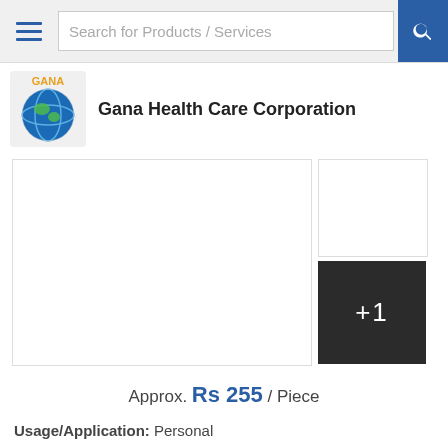Search for Products / Services
Gana Health Care Corporation
[Figure (photo): Product image area with main image placeholder and +1 more button]
Approx. Rs 255 / Piece
Usage/Application: Personal
Type of Cream: skin cream
Ingredients: ...more
Get Best Price | Call Us
Melacare Forte Cream